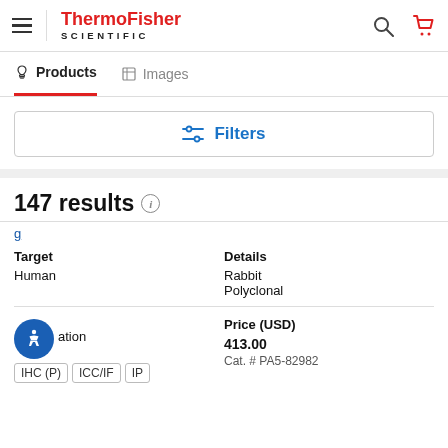[Figure (logo): ThermoFisher Scientific logo with hamburger menu, search icon, and cart icon]
Products  Images
Filters
147 results
| Target | Details |
| --- | --- |
| Human | Rabbit
Polyclonal |
| ation | Price (USD) |
| --- | --- |
| IHC (P)  ICC/IF  IP | 413.00
Cat. # PA5-82982 |